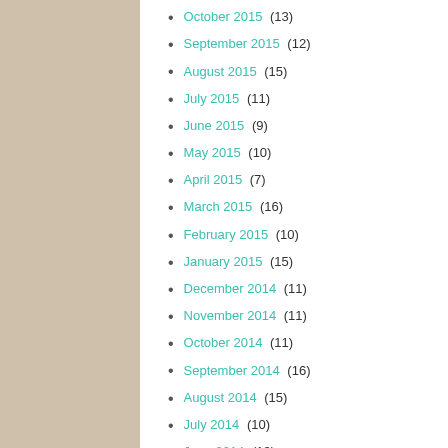October 2015 (13)
September 2015 (12)
August 2015 (15)
July 2015 (11)
June 2015 (9)
May 2015 (10)
April 2015 (7)
March 2015 (16)
February 2015 (10)
January 2015 (15)
December 2014 (11)
November 2014 (11)
October 2014 (11)
September 2014 (16)
August 2014 (15)
July 2014 (10)
June 2014 (13)
May 2014 (12)
April 2014 (13)